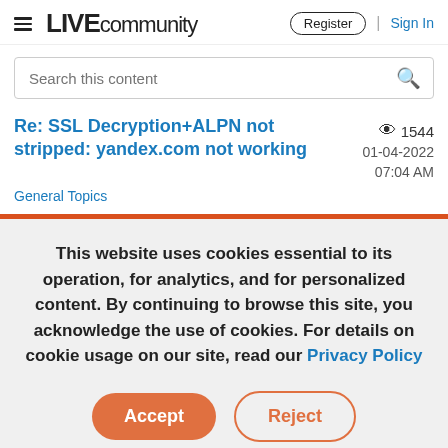LIVEcommunity — Register | Sign In
Search this content
Re: SSL Decryption+ALPN not stripped: yandex.com not working
👁 1544   01-04-2022 07:04 AM
General Topics
This website uses cookies essential to its operation, for analytics, and for personalized content. By continuing to browse this site, you acknowledge the use of cookies. For details on cookie usage on our site, read our Privacy Policy
Accept   Reject